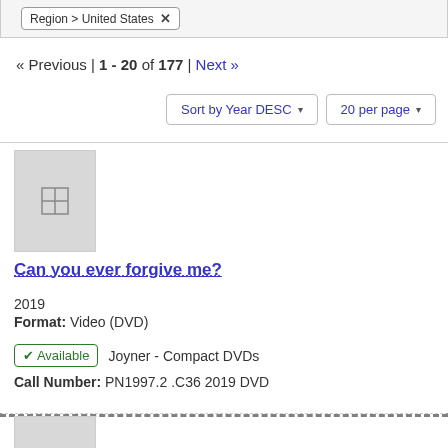Region > United States ✕
« Previous | 1 - 20 of 177 | Next »
Sort by Year DESC ▾   20 per page ▾
[Figure (screenshot): Placeholder thumbnail image with film/grid icon for library item]
Can you ever forgive me?
2019
Format: Video (DVD)
✓ Available   Joyner - Compact DVDs
Call Number: PN1997.2 .C36 2019 DVD